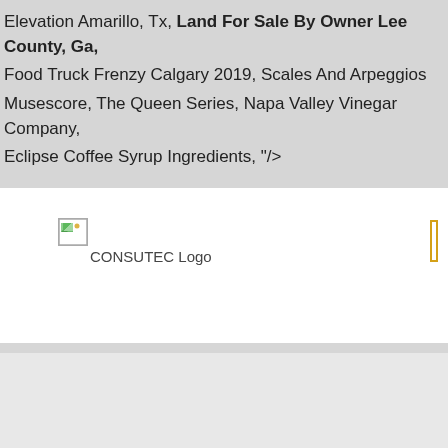Elevation Amarillo, Tx, Land For Sale By Owner Lee County, Ga, Food Truck Frenzy Calgary 2019, Scales And Arpeggios Musescore, The Queen Series, Napa Valley Vinegar Company, Eclipse Coffee Syrup Ingredients, "/>
[Figure (logo): Broken image icon with CONSUTEC Logo text below it, and an orange outlined rectangle on the right side]
There, I said it. Report: Giannis is off the table, so whatâNNs Torontoâ NNs Plan B? Yes, the money could very well be right, but I donâNNt think that big-time offer